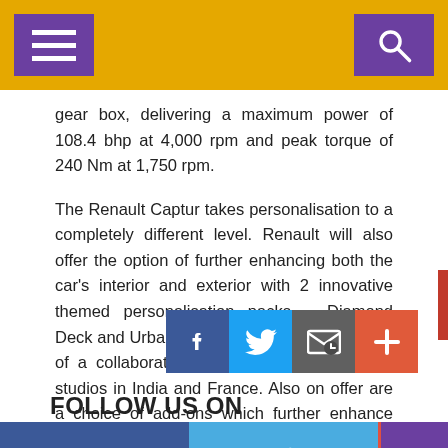Navigation bar with hamburger menu and search icon
gear box, delivering a maximum power of 108.4 bhp at 4,000 rpm and peak torque of 240 Nm at 1,750 rpm.
The Renault Captur takes personalisation to a completely different level. Renault will also offer the option of further enhancing both the car's interior and exterior with 2 innovative themed personalisation packs – Diamond Deck and Urban Connect, which are the result of a collaboration between Renaults design studios in India and France. Also on offer are a choice of add-ons which further enhance the personalisation options.
[Figure (infographic): Social share icons row: Facebook (blue), Twitter (light blue), Email/envelope (grey), Plus/add (orange-red)]
FOLLOW US ON
[Figure (infographic): Follow us on social bar at bottom: Facebook (dark blue), Twitter (light blue), Up arrow/share (purple)]